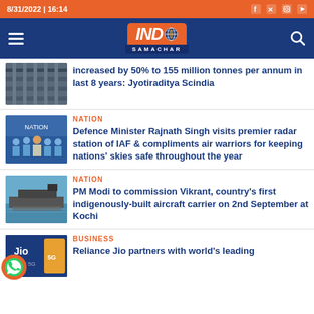8/31/2022 | 16:14
[Figure (logo): IND Samachar news website logo with orange and blue branding]
increased by 50% to 155 million tonnes per annum in last 8 years: Jyotiraditya Scindia
NATION
Defence Minister Rajnath Singh visits premier radar station of IAF & compliments air warriors for keeping nations' skies safe throughout the year
NATION
PM Modi to commission Vikrant, country's first indigenously-built aircraft carrier on 2nd September at Kochi
BUSINESS
Reliance Jio partners with world's leading